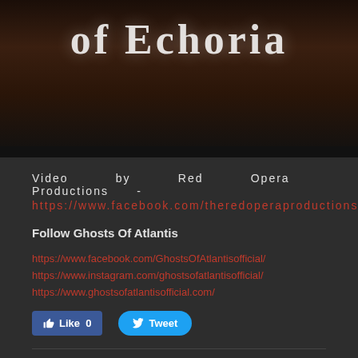[Figure (screenshot): Dark fantasy banner image with ornate serif text reading 'of Echoria' partially visible, brown and dark toned background with particles]
Video by Red Opera Productions - https://www.facebook.com/theredoperaproductions/
Follow Ghosts Of Atlantis
https://www.facebook.com/GhostsOfAtlantisofficial/
https://www.instagram.com/ghostsofatlantisofficial/
https://www.ghostsofatlantisofficial.com/
Like 0   Tweet
0 Comments
Bring Me The Horizon announce new EP